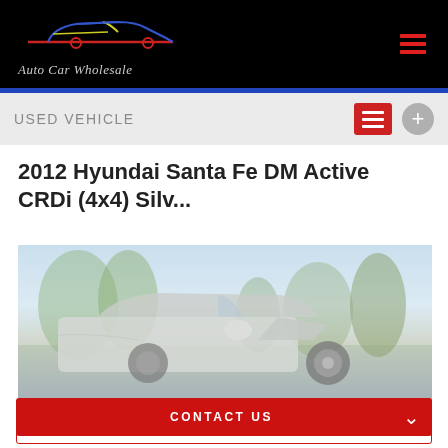[Figure (logo): Auto Car Wholesale logo with stylized car outline in red, yellow and blue on black background, with text 'Auto Car Wholesale' in italic below]
USED VEHICLE
2012 Hyundai Santa Fe DM Active CRDi (4x4) Silv...
[Figure (photo): Photo of a silver Hyundai Santa Fe SUV with trees in background, with a blue 'SOLD' banner in the top right corner]
CONTACT US
FINANCE THIS VEHICLE